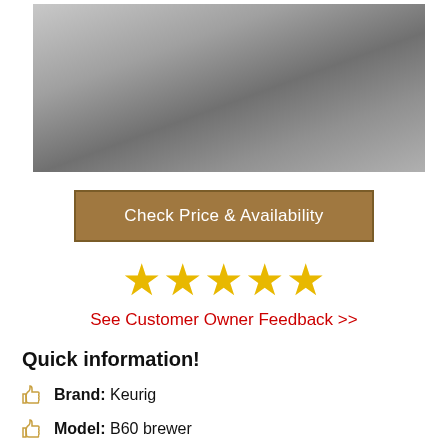[Figure (photo): Product image showing a metallic/silver surface with gradient shading, likely a Keurig B60 brewer]
Check Price & Availability
[Figure (infographic): Five gold stars rating display]
See Customer Owner Feedback >>
Quick information!
Brand: Keurig
Model: B60 brewer